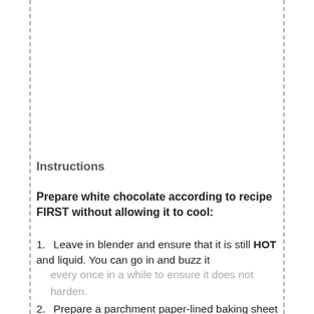Instructions
Prepare white chocolate according to recipe FIRST without allowing it to cool:
Leave in blender and ensure that it is still HOT and liquid. You can go in and buzz it every once in a while to ensure it does not harden.
Prepare a parchment paper-lined baking sheet and set aside.